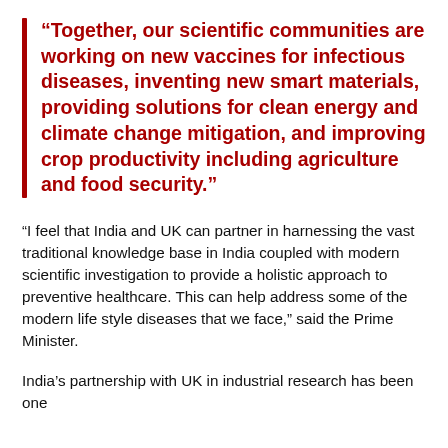“Together, our scientific communities are working on new vaccines for infectious diseases, inventing new smart materials, providing solutions for clean energy and climate change mitigation, and improving crop productivity including agriculture and food security.”
“I feel that India and UK can partner in harnessing the vast traditional knowledge base in India coupled with modern scientific investigation to provide a holistic approach to preventive healthcare. This can help address some of the modern life style diseases that we face,” said the Prime Minister.
India’s partnership with UK in industrial research has been one